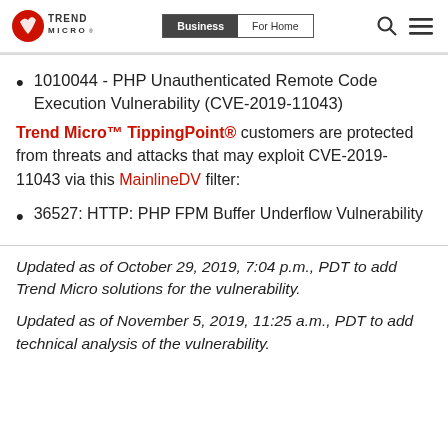Trend Micro | Business | For Home
1010044 - PHP Unauthenticated Remote Code Execution Vulnerability (CVE-2019-11043)
Trend Micro™ TippingPoint® customers are protected from threats and attacks that may exploit CVE-2019-11043 via this MainlineDV filter:
36527: HTTP: PHP FPM Buffer Underflow Vulnerability
Updated as of October 29, 2019, 7:04 p.m., PDT to add Trend Micro solutions for the vulnerability.
Updated as of November 5, 2019, 11:25 a.m., PDT to add technical analysis of the vulnerability.